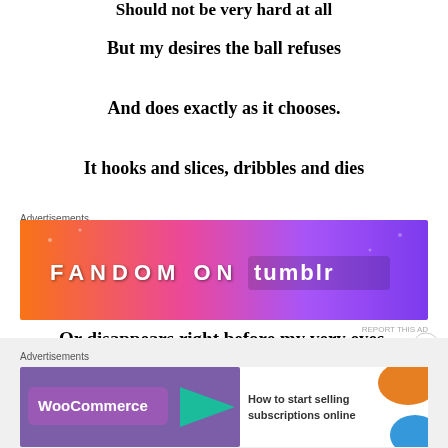Should not be very hard at all
But my desires the ball refuses
And does exactly as it chooses.
It hooks and slices, dribbles and dies
Advertisements
[Figure (illustration): Fandom on Tumblr advertisement banner with orange-to-purple gradient background and decorative icons]
Or disappears right before my very eyes.
Advertisements
[Figure (illustration): WooCommerce advertisement banner: How to start selling subscriptions online]